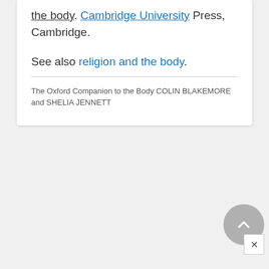the body. Cambridge University Press, Cambridge.
See also religion and the body.
The Oxford Companion to the Body COLIN BLAKEMORE and SHELIA JENNETT